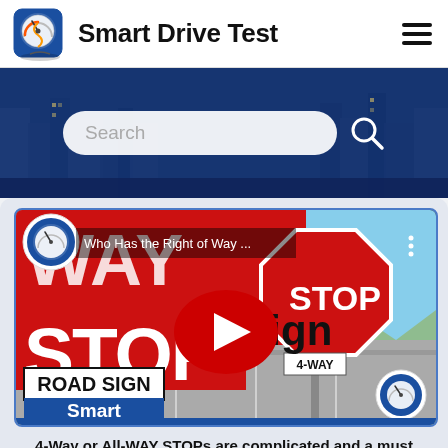Smart Drive Test
[Figure (screenshot): Website header with Smart Drive Test logo, site title, and hamburger menu icon]
[Figure (screenshot): Blue banner with city skyline background and a search bar with search icon]
[Figure (screenshot): YouTube video thumbnail for 'Who Has the Right of Way' featuring a 4-Way STOP road sign, with play button overlay, ROAD SIGN and Smart labels, and Smart Drive Test logo]
4-Way or All-WAY STOPs are complicated and a must know for a road test - watch the